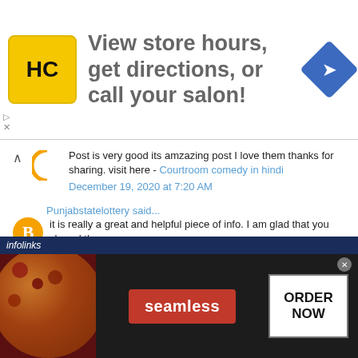[Figure (screenshot): Advertisement banner: HC logo (yellow square), text 'View store hours, get directions, or call your salon!', blue navigation diamond icon]
Post is very good its amzazing post I love them thanks for sharing. visit here - Courtroom comedy in hindi
December 19, 2020 at 7:20 AM
Punjabstatelottery said...
it is really a great and helpful piece of info. I am glad that you shared th Please keep us informed like this. Thank you for sharing. Website: Punjab state lottery
January 5, 2021 at 7:04 AM
marketshare said...
I am new here. I like your post very much. It is very usefull post for me.
[Figure (screenshot): Infolinks bar with dark blue background showing 'infolinks' label, followed by Seamless food ordering advertisement with pizza image, red Seamless logo, and ORDER NOW button]